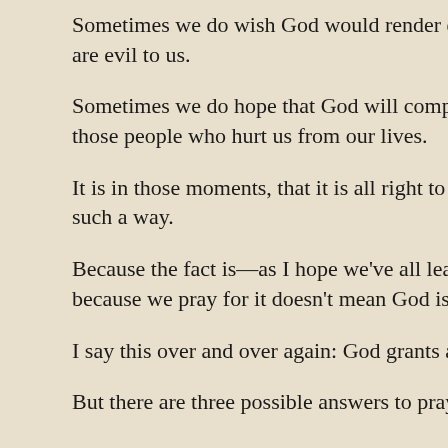Sometimes we do wish God would render ev… are evil to us.
Sometimes we do hope that God will comple… those people who hurt us from our lives.
It is in those moments, that it is all right to p… such a way.
Because the fact is—as I hope we've all learn… because we pray for it doesn't mean God is g…
I say this over and over again: God grants all…
But there are three possible answers to pray…